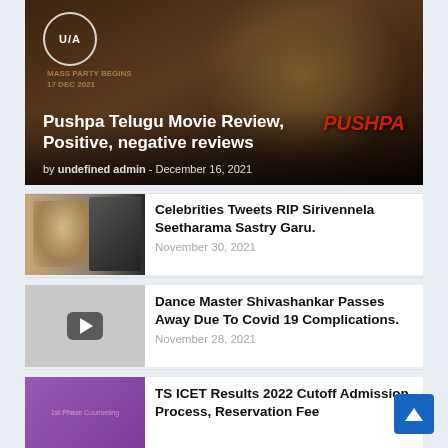[Figure (photo): Hero banner image showing Pushpa movie promotional photo with U/A rating badge, title overlay and byline. Actor shown in crowd scene with Pushpa logo.]
Pushpa Telugu Movie Review, Positive, negative reviews
by undefined admin - December 16, 2021
[Figure (photo): Thumbnail image showing a man speaking at a microphone next to a black and white photo, related to Sirivennela Seetharama Sastry.]
Celebrities Tweets RIP Sirivennela Seetharama Sastry Garu.
November 30, 2021
[Figure (screenshot): Gray thumbnail with video play button icon (rounded rectangle with triangle).]
Dance Master Shivashankar Passes Away Due To Covid 19 Complications.
November 28, 2021
[Figure (photo): Purple/violet thumbnail for TS ICET Results article.]
TS ICET Results 2022 Cutoff Admission Process, Reservation Fee